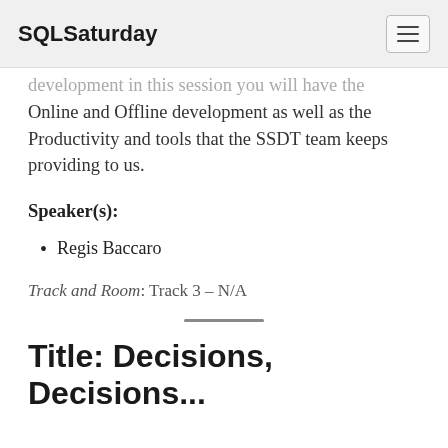SQLSaturday
development in this session you will have the Online and Offline development as well as the Productivity and tools that the SSDT team keeps providing to us.
Speaker(s):
Regis Baccaro
Track and Room: Track 3 – N/A
Title: Decisions, Decisions...